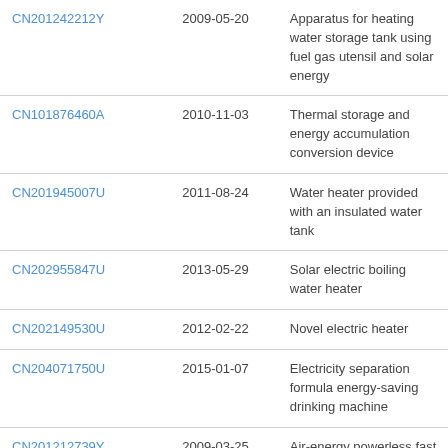| CN201242212Y | 2009-05-20 | Apparatus for heating water storage tank using fuel gas utensil and solar energy |
| CN101876460A | 2010-11-03 | Thermal storage and energy accumulation conversion device |
| CN201945007U | 2011-08-24 | Water heater provided with an insulated water tank |
| CN202955847U | 2013-05-29 | Solar electric boiling water heater |
| CN202149530U | 2012-02-22 | Novel electric heater |
| CN204071750U | 2015-01-07 | Electricity separation formula energy-saving drinking machine |
| CN201212739Y | 2009-03-25 | Air-energy powerless fast exchanging water heater |
| CN201398362Y | 2010-02-10 | Piglet insulating bed with double heat-supply ground heating |